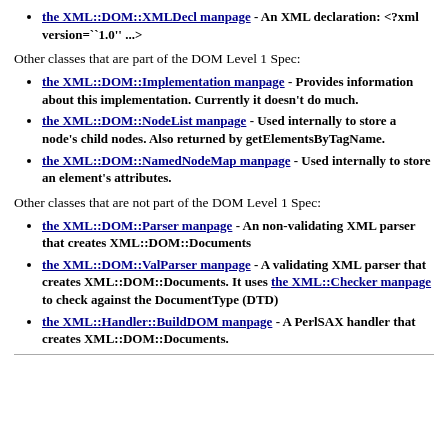the XML::DOM::XMLDecl manpage - An XML declaration: <?xml version=``1.0'' ...>
Other classes that are part of the DOM Level 1 Spec:
the XML::DOM::Implementation manpage - Provides information about this implementation. Currently it doesn't do much.
the XML::DOM::NodeList manpage - Used internally to store a node's child nodes. Also returned by getElementsByTagName.
the XML::DOM::NamedNodeMap manpage - Used internally to store an element's attributes.
Other classes that are not part of the DOM Level 1 Spec:
the XML::DOM::Parser manpage - An non-validating XML parser that creates XML::DOM::Documents
the XML::DOM::ValParser manpage - A validating XML parser that creates XML::DOM::Documents. It uses the XML::Checker manpage to check against the DocumentType (DTD)
the XML::Handler::BuildDOM manpage - A PerlSAX handler that creates XML::DOM::Documents.